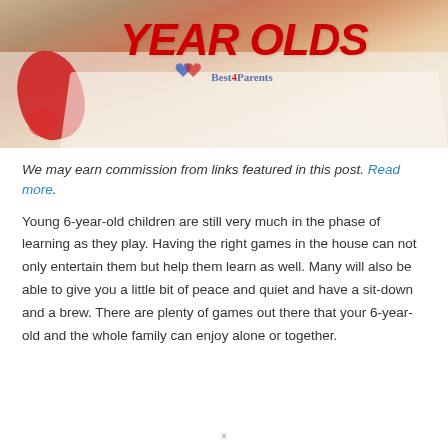[Figure (photo): Hero image showing children playing a board game, with overlaid red italic text 'YEAR OLDS' and a Best 4 Parents watermark logo]
We may earn commission from links featured in this post. Read more.
Young 6-year-old children are still very much in the phase of learning as they play. Having the right games in the house can not only entertain them but help them learn as well. Many will also be able to give you a little bit of peace and quiet and have a sit-down and a brew. There are plenty of games out there that your 6-year-old and the whole family can enjoy alone or together.